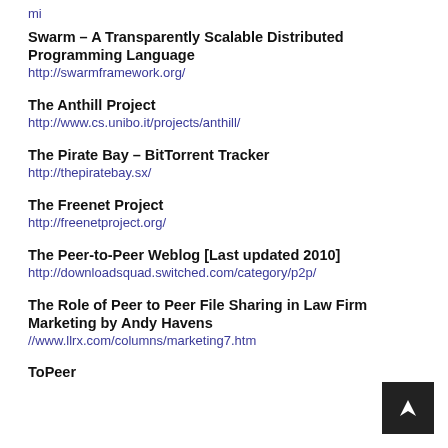mi
Swarm – A Transparently Scalable Distributed Programming Language
http://swarmframework.org/
The Anthill Project
http://www.cs.unibo.it/projects/anthill/
The Pirate Bay – BitTorrent Tracker
http://thepiratebay.sx/
The Freenet Project
http://freenetproject.org/
The Peer-to-Peer Weblog [Last updated 2010]
http://downloadsquad.switched.com/category/p2p/
The Role of Peer to Peer File Sharing in Law Firm Marketing by Andy Havens
//www.llrx.com/columns/marketing7.htm
ToPeer